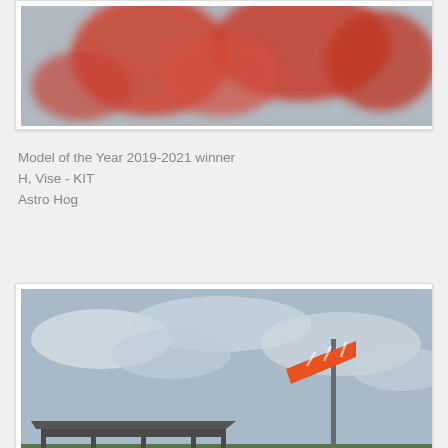[Figure (photo): Blurred/cropped top portion of a photo showing red objects against a background, partially visible at top of page]
Model of the Year 2019-2021 winner
H, Vise - KIT
Astro Hog
[Figure (photo): Outdoor RC flying field with a windsock on a pole extended in the wind, a metal canopy/shelter structure on the left, green grass, and cloudy sky]
Get current weather details use zip code 75065 with your favorite weather station
Our field is located at Westlake Park on Lake Lewisville.  If you are interested in the Club, contact Butch Mallam at 214-